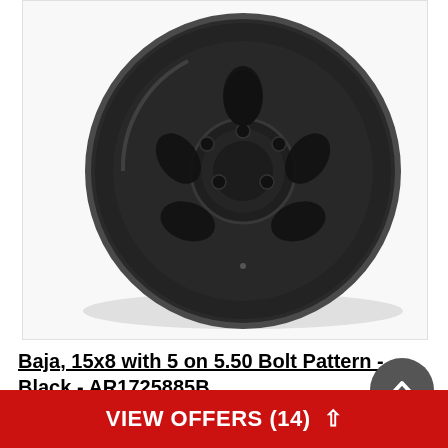[Figure (photo): Close-up product photo of a black Baja wheel/rim (15x8) showing the matte black finish, oval slots, and center hub against a white background with slight shadow.]
Baja, 15x8 with 5 on 5.50 Bolt Pattern - Black - AR1725885B
VIEW OFFERS (14)